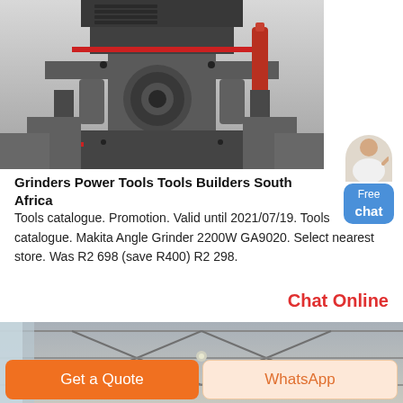[Figure (photo): Large industrial grinding machine photographed from below/side angle, showing black metal body with red hydraulic cylinders and mechanical components]
Grinders Power Tools Tools Builders South Africa
Tools catalogue. Promotion. Valid until 2021/07/19. Tools catalogue. Makita Angle Grinder 2200W GA9020. Select nearest store. Was R2 698 (save R400) R2 298.
Chat Online
[Figure (photo): Interior of a large industrial warehouse or factory building with steel roof trusses visible]
Get a Quote
WhatsApp